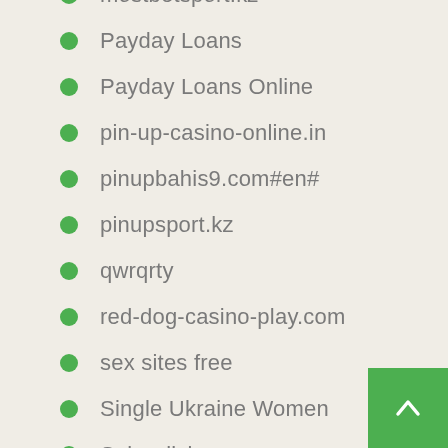mostbetsport.kz
Payday Loans
Payday Loans Online
pin-up-casino-online.in
pinupbahis9.com#en#
pinupsport.kz
qwrqrty
red-dog-casino-play.com
sex sites free
Single Ukraine Women
Sober living
Tasting
Uncategorized
wives for marriage